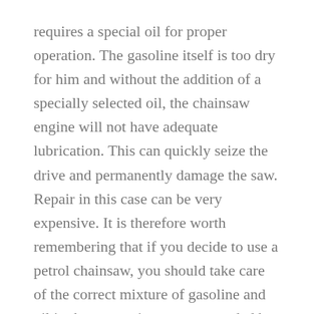requires a special oil for proper operation. The gasoline itself is too dry for him and without the addition of a specially selected oil, the chainsaw engine will not have adequate lubrication. This can quickly seize the drive and permanently damage the saw. Repair in this case can be very expensive. It is therefore worth remembering that if you decide to use a petrol chainsaw, you should take care of the correct mixture of gasoline and oil in the proportions recommended by the manufacturer of the equipment.
What distinguishes petrol chainsaws? Internal combustion engines are strong and durable, making them ideal for special tasks, which is why they are so eagerly chosen by professional lumberjacks when